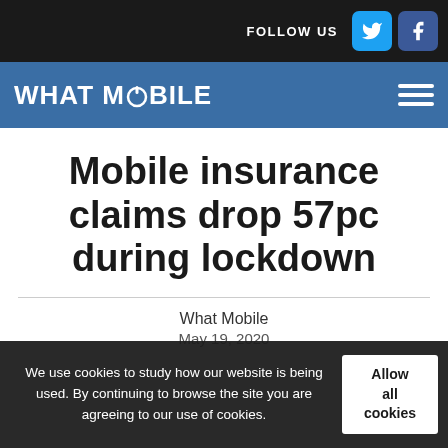FOLLOW US [Twitter] [Facebook]
WHAT MOBILE
Mobile insurance claims drop 57pc during lockdown
What Mobile
We use cookies to study how our website is being used. By continuing to browse the site you are agreeing to our use of cookies.